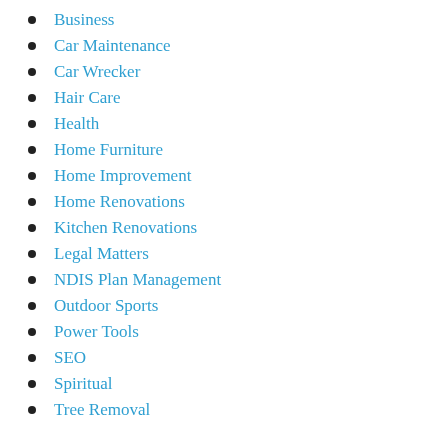Business
Car Maintenance
Car Wrecker
Hair Care
Health
Home Furniture
Home Improvement
Home Renovations
Kitchen Renovations
Legal Matters
NDIS Plan Management
Outdoor Sports
Power Tools
SEO
Spiritual
Tree Removal